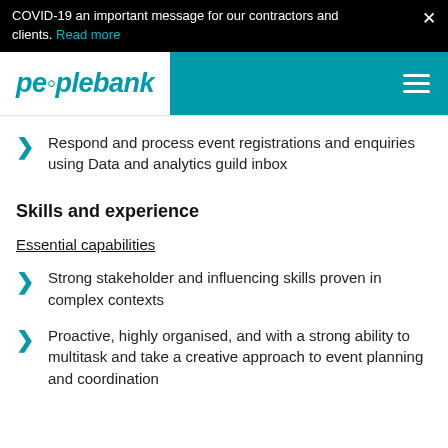COVID-19 an important message for our contractors and clients. Read more
[Figure (logo): Peoplebank logo in teal italic bold font with navigation bar]
Respond and process event registrations and enquiries using Data and analytics guild inbox
Skills and experience
Essential capabilities
Strong stakeholder and influencing skills proven in complex contexts
Proactive, highly organised, and with a strong ability to multitask and take a creative approach to event planning and coordination